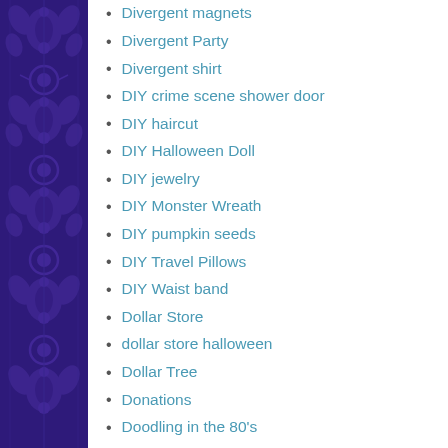[Figure (illustration): Dark purple ornamental damask pattern sidebar on the left edge of the page]
Divergent magnets
Divergent Party
Divergent shirt
DIY crime scene shower door
DIY haircut
DIY Halloween Doll
DIY jewelry
DIY Monster Wreath
DIY pumpkin seeds
DIY Travel Pillows
DIY Waist band
Dollar Store
dollar store halloween
Dollar Tree
Donations
Doodling in the 80's
Door Mat
dramatic layers for long hair
Dry Eye